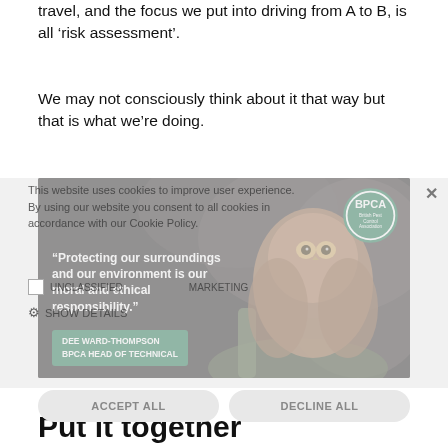travel, and the focus we put into driving from A to B, is all ‘risk assessment’.
We may not consciously think about it that way but that is what we’re doing.
[Figure (photo): BPCA advertisement image showing an owl perched on a branch with quote: 'Protecting our surroundings and our environment is our moral and ethical responsibility.' attributed to DEE WARD-THOMPSON, BPCA HEAD OF TECHNICAL. A cookie consent overlay is partially visible over the image.]
Put it together